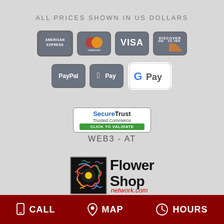ALL PRICES SHOWN IN US DOLLARS
[Figure (infographic): Payment method icons: American Express, Mastercard, Visa, Discover, PayPal, Apple Pay, Google Pay]
[Figure (logo): SecureTrust Trusted Commerce badge with CLICK TO VALIDATE button]
WEB3 - AT
[Figure (logo): Flower Shop Network logo with colorful flower icon and text reading Flower Shop network.com]
CALL  MAP  HOURS